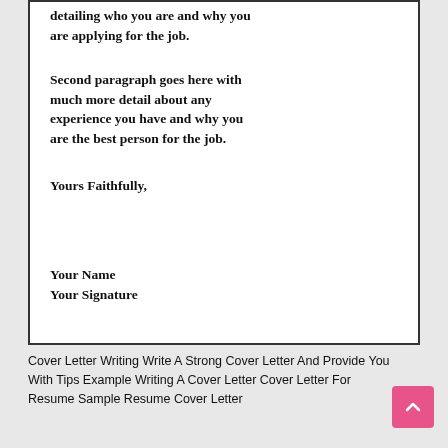[Figure (screenshot): Document box showing a cover letter template with bold serif text. Contains partial first paragraph, second paragraph, closing, and signature lines on white background with black border.]
detailing who you are and why you are applying for the job.

Second paragraph goes here with much more detail about any experience you have and why you are the best person for the job.

Yours Faithfully,



Your Name
Your Signature
Cover Letter Writing Write A Strong Cover Letter And Provide You With Tips Example Writing A Cover Letter Cover Letter For Resume Sample Resume Cover Letter